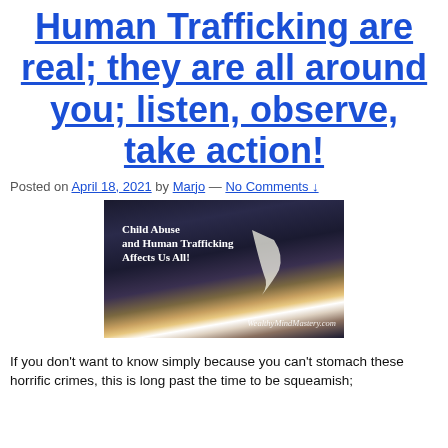Human Trafficking are real; they are all around you; listen, observe, take action!
Posted on April 18, 2021 by Marjo — No Comments ↓
[Figure (photo): Dark stormy sky with lightning bolt and text overlay reading 'Child Abuse and Human Trafficking Affects Us All!' with watermark 'WealthyMindMastery.com']
If you don't want to know simply because you can't stomach these horrific crimes, this is long past the time to be squeamish;